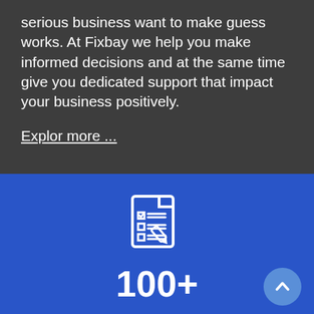serious business want to make guess works. At Fixbay we help you make informed decisions and at the same time give you dedicated support that impact your business positively.
Explor more ...
[Figure (illustration): White icon of a document/checklist with a pencil on blue background]
100+